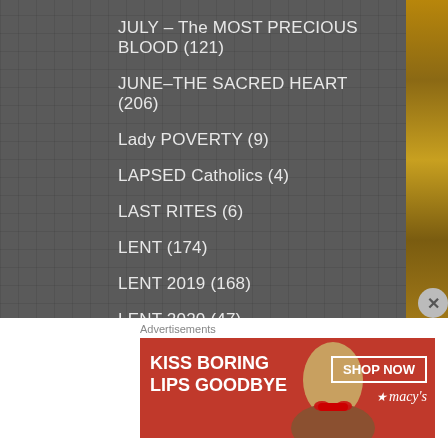JULY – The MOST PRECIOUS BLOOD (121)
JUNE–THE SACRED HEART (206)
Lady POVERTY (9)
LAPSED Catholics (4)
LAST RITES (6)
LENT (174)
LENT 2019 (168)
LENT 2020 (47)
LENT 2021 (67)
LENT 2022 (57)
LENTEN PRAYERS & NOVENAS (115)
Advertisements
[Figure (photo): Macy's advertisement banner: red background with text 'KISS BORING LIPS GOODBYE', woman's face with red lips, 'SHOP NOW' button and Macy's star logo]